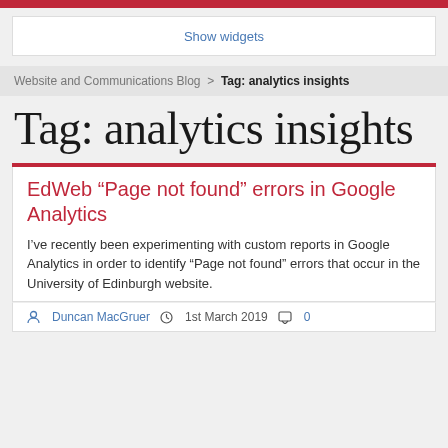Show widgets
Website and Communications Blog > Tag: analytics insights
Tag: analytics insights
EdWeb “Page not found” errors in Google Analytics
I’ve recently been experimenting with custom reports in Google Analytics in order to identify “Page not found” errors that occur in the University of Edinburgh website.
Duncan MacGruer   1st March 2019   0